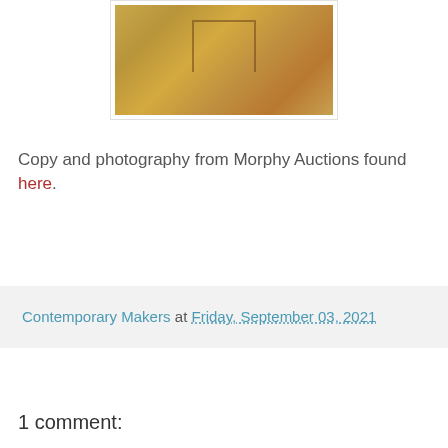[Figure (photo): A close-up photograph of an antique/historical artifact with a golden-brown tone, showing engraved or embossed geometric/architectural patterns]
Copy and photography from Morphy Auctions found here.
Contemporary Makers at Friday, September 03, 2021
1 comment: